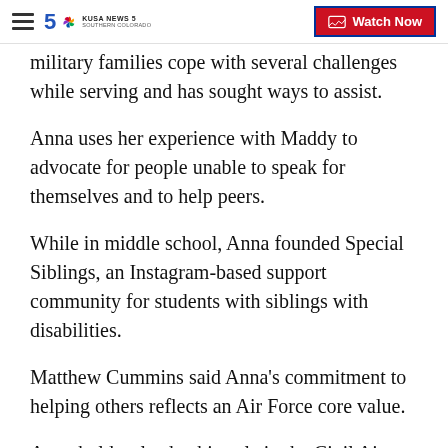KUSA News 5 Southern Colorado | Watch Now
military families cope with several challenges while serving and has sought ways to assist.
Anna uses her experience with Maddy to advocate for people unable to speak for themselves and to help peers.
While in middle school, Anna founded Special Siblings, an Instagram-based support community for students with siblings with disabilities.
Matthew Cummins said Anna's commitment to helping others reflects an Air Force core value.
Anna holds a leadership role in the Civil Air Patrol and founded the Aviation and Aerospace Club at her